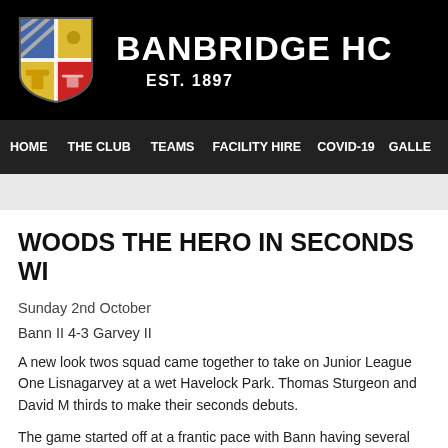[Figure (logo): Banbridge HC shield/crest logo with quartered sections in blue, yellow, and red]
BANBRIDGE HC
EST. 1897
HOME   THE CLUB   TEAMS   FACILITY HIRE   COVID-19   GALLE
WOODS THE HERO IN SECONDS WI...
Sunday 2nd October
Bann II 4-3 Garvey II
A new look twos squad came together to take on Junior League One Lisnagarvey at a wet Havelock Park. Thomas Sturgeon and David M... thirds to make their seconds debuts.
The game started off at a frantic pace with Bann having several atta...